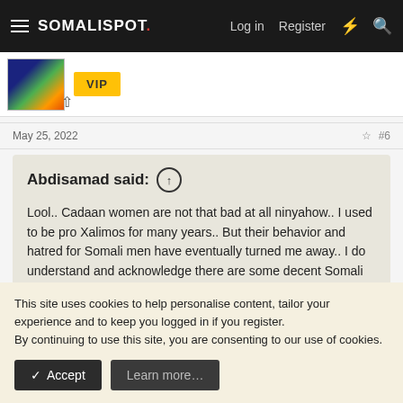SOMALISPOT. Log in Register
[Figure (screenshot): Avatar thumbnail with colorful night-sky style image and VIP yellow badge]
May 25, 2022  #6
Abdisamad said: ↑

Lool.. Cadaan women are not that bad at all ninyahow.. I used to be pro Xalimos for many years.. But their behavior and hatred for Somali men have eventually turned me away.. I do understand and acknowledge there are some decent Somali women still, but the number is going down year by year.
This site uses cookies to help personalise content, tailor your experience and to keep you logged in if you register.
By continuing to use this site, you are consenting to our use of cookies.